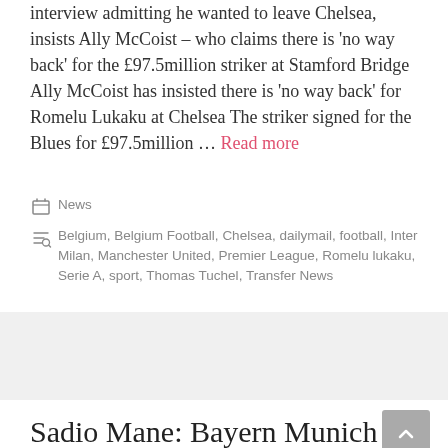Romelu Lukaku shot himself in the foot with an interview admitting he wanted to leave Chelsea, insists Ally McCoist – who claims there is 'no way back' for the £97.5million striker at Stamford Bridge Ally McCoist has insisted there is 'no way back' for Romelu Lukaku at Chelsea The striker signed for the Blues for £97.5million … Read more
Categories: News
Tags: Belgium, Belgium Football, Chelsea, dailymail, football, Inter Milan, Manchester United, Premier League, Romelu lukaku, Serie A, sport, Thomas Tuchel, Transfer News
Sadio Mane: Bayern Munich confirms signing of Liverpool star